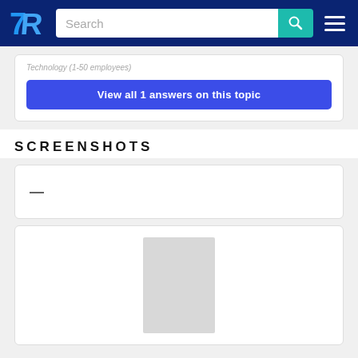TrustRadius navigation bar with search
Technology (1-50 employees)
View all 1 answers on this topic
SCREENSHOTS
[Figure (screenshot): Empty screenshot card with a dash placeholder]
[Figure (screenshot): Screenshot card with a gray rectangular image placeholder in the center]